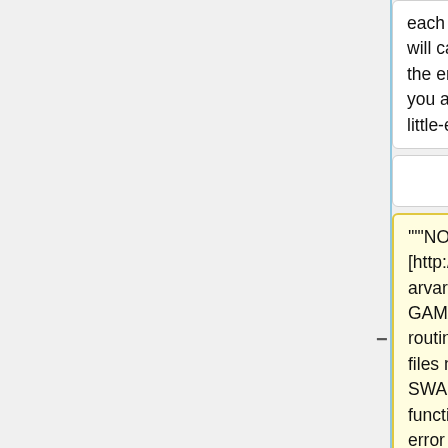each call to OPEN_FILE will cause IDL to swap the endian ordering if you are running IDL on a little-endian machine.
each call to OPEN_FILE will cause IDL to swap the endian ordering if you are running IDL on a little-endian machine.
"""NOTE: In [http://www.as.harvard.edu/ctm/gamap/ GAMAP v2-12], all routines that read binary files now use the SWAP_ENDIAN function, so this type of error should not occur
"""NOTE: In [http://acmg.seas.harvard.edu/ctm/gamap/ GAMAP v2-12], all routines that read binary files now use the SWAP_ENDIAN function, so this type of error should not occur